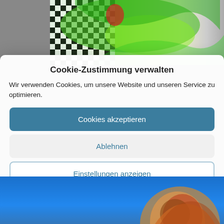[Figure (photo): Top section showing a checkered pattern on the left and green swirling abstract art on the right]
Cookie-Zustimmung verwalten
Wir verwenden Cookies, um unsere Website und unseren Service zu optimieren.
Cookies akzeptieren
Ablehnen
Einstellungen anzeigen
Cookie-Richtlinie   Datenschutz   Impressum
[Figure (photo): Bottom section showing a blue background with a colorful abstract figure on the right side]